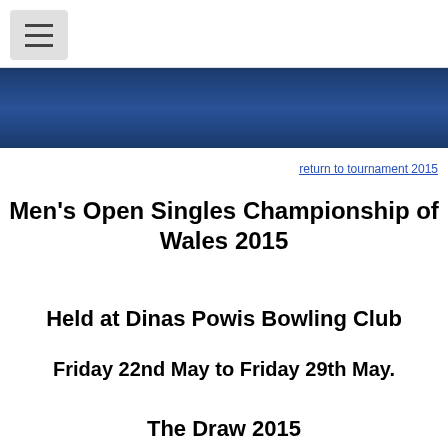[Figure (other): Navigation menu icon (hamburger) in top-left corner]
[Figure (other): Dark blue gradient banner header bar]
return to tournament 2015
Men's Open Singles Championship of Wales 2015
Held at Dinas Powis Bowling Club
Friday 22nd May to Friday 29th May.
The Draw 2015